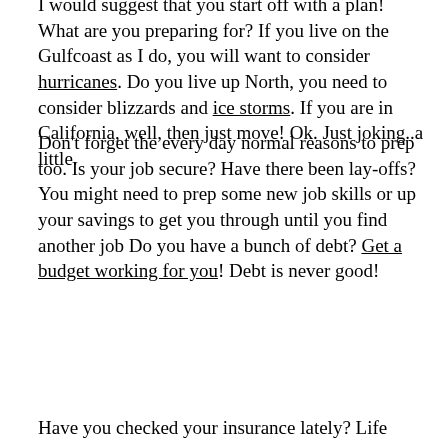I would suggest that you start off with a plan! What are you preparing for? If you live on the Gulfcoast as I do, you will want to consider hurricanes. Do you live up North, you need to consider blizzards and ice storms. If you are in California, well, then just move! Ok. Just joking..a little.
Don't forget the every day normal reasons to prep too. Is your job secure? Have there been lay-offs? You might need to prep some new job skills or up your savings to get you through until you find another job Do you have a bunch of debt? Get a budget working for you! Debt is never good!
Have you checked your insurance lately? Life